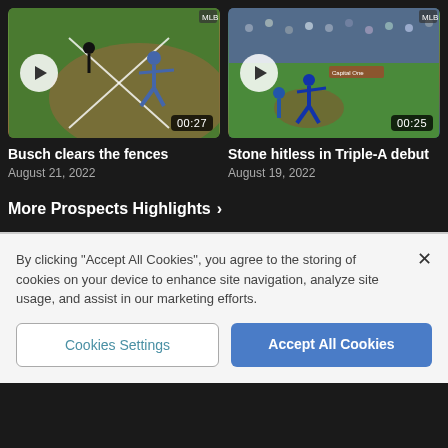[Figure (screenshot): Video thumbnail: Baseball player rounding base after home run, green field background, play button overlay, duration 00:27]
[Figure (screenshot): Video thumbnail: Baseball pitcher throwing during game with stadium crowd, play button overlay, duration 00:25]
Busch clears the fences
August 21, 2022
Stone hitless in Triple-A debut
August 19, 2022
More Prospects Highlights ›
By clicking “Accept All Cookies”, you agree to the storing of cookies on your device to enhance site navigation, analyze site usage, and assist in our marketing efforts.
Cookies Settings
Accept All Cookies